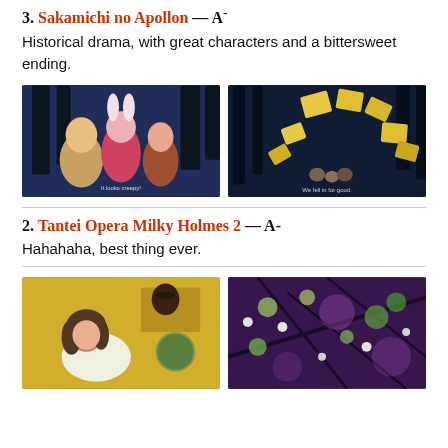3. Sakamichi no Apollon — A-
Historical drama, with great characters and a bittersweet ending.
[Figure (photo): Anime screenshot showing multiple female characters with bunny ears, one in pink, looking scared or worried. Subtitle reads 'It looks creepy!']
[Figure (photo): Dark anime screenshot showing scattered yellow card/paper shapes and small characters in the background. Subtitle reads 'We fell in for good.']
2. Tantei Opera Milky Holmes 2 — A-
Hahahaha, best thing ever.
[Figure (photo): Anime screenshot of a girl with brown hair sitting in a Japanese-style room with warm yellow tones, looking to the side.]
[Figure (photo): Colorful anime screenshot with bright flowers, branches, and bokeh light effects in purple, green, and white tones.]